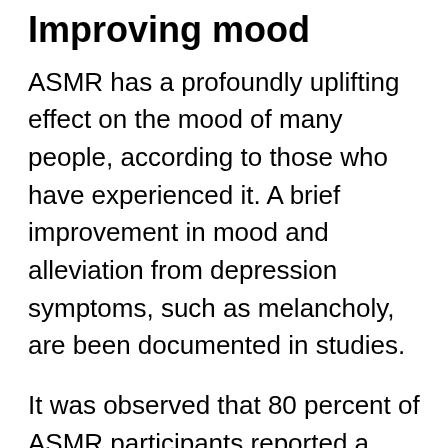Improving mood
ASMR has a profoundly uplifting effect on the mood of many people, according to those who have experienced it. A brief improvement in mood and alleviation from depression symptoms, such as melancholy, are been documented in studies.
It was observed that 80 percent of ASMR participants reported a favorable influence on mood, while another study in 2018 indicated that those with ASMR had lower levels of sadness after watching ASMR videos.